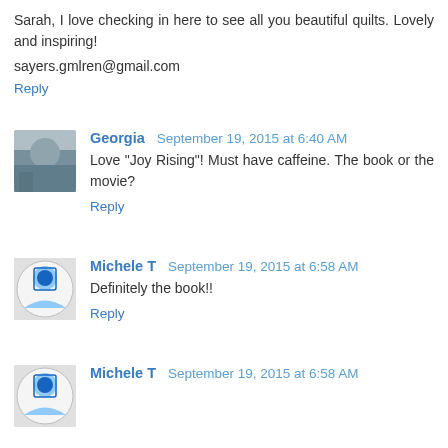Sarah, I love checking in here to see all you beautiful quilts. Lovely and inspiring!
sayers.gmlren@gmail.com
Reply
Georgia  September 19, 2015 at 6:40 AM
Love "Joy Rising"! Must have caffeine. The book or the movie?
Reply
Michele T  September 19, 2015 at 6:58 AM
Definitely the book!!
Reply
Michele T  September 19, 2015 at 6:58 AM